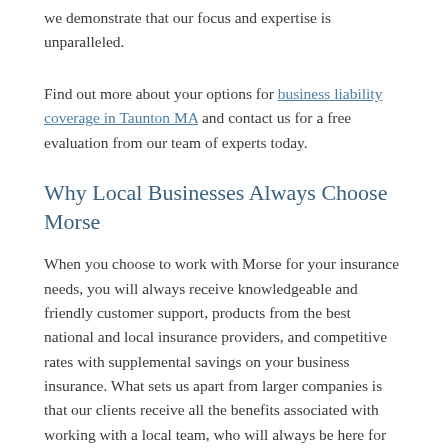we demonstrate that our focus and expertise is unparalleled.
Find out more about your options for business liability coverage in Taunton MA and contact us for a free evaluation from our team of experts today.
Why Local Businesses Always Choose Morse
When you choose to work with Morse for your insurance needs, you will always receive knowledgeable and friendly customer support, products from the best national and local insurance providers, and competitive rates with supplemental savings on your business insurance. What sets us apart from larger companies is that our clients receive all the benefits associated with working with a local team, who will always be here for you. Since we are right in your own backyard, we understand the coverages specifically suited to Taunton MA as well as to you and your business' needs. Our team of insurance experts at Morse would love the chance to help you, our neighbor, with all